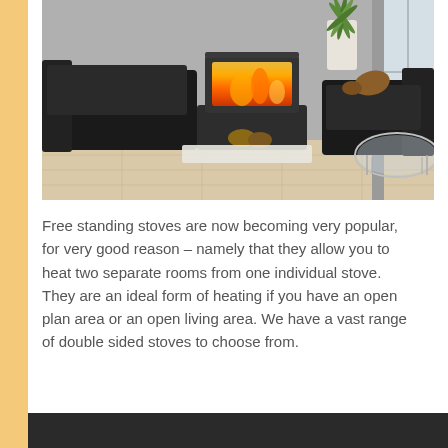[Figure (photo): A modern living room with a freestanding double-sided wood burning stove on a stand, black leather sofas, a glass coffee table, a large potted palm plant, and light wood flooring.]
Free standing stoves are now becoming very popular, for very good reason – namely that they allow you to heat two separate rooms from one individual stove. They are an ideal form of heating if you have an open plan area or an open living area. We have a vast range of double sided stoves to choose from.